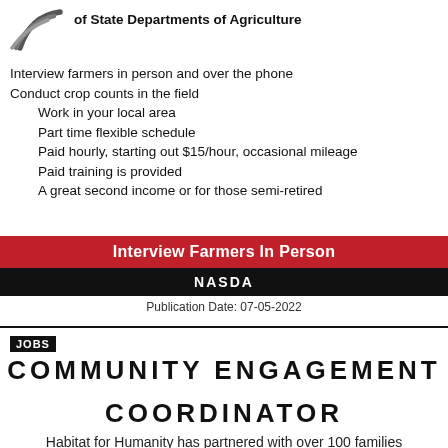[Figure (logo): NASDA logo with stylized grain/wheat swoosh marks]
of State Departments of Agriculture
Interview farmers in person and over the phone
Conduct crop counts in the field
Work in your local area
Part time flexible schedule
Paid hourly, starting out $15/hour, occasional mileage
Paid training is provided
A great second income or for those semi-retired
Interview Farmers In Person
NASDA
Publication Date: 07-05-2022
JOBS
COMMUNITY ENGAGEMENT COORDINATOR
Habitat for Humanity has partnered with over 100 families